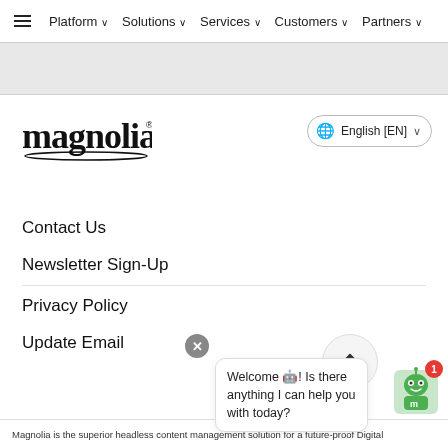≡  Platform ∨  Solutions ∨  Services ∨  Customers ∨  Partners ∨
[Figure (logo): Magnolia logo in black text with registered trademark symbol]
🌐 English [EN] ∨
Contact Us
Newsletter Sign-Up
Privacy Policy
Update Email Preferences
Welcome 🤖! Is there anything I can help you with today?
Magnolia is the superior headless content management solution for a future-proof Digital